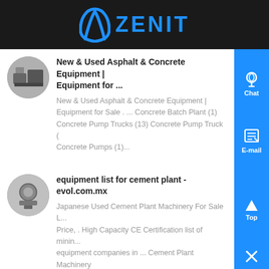[Figure (logo): Zenit company logo with blue arch icon and blue ZENIT text on dark background]
New & Used Asphalt & Concrete Equipment | Equipment for ...
New & Used Asphalt & Concrete Equipment | Equipment for Sale . ... Concrete Batch Plant (1) Concrete Pump Trucks (13) Concrete Pump Truck (... Concrete Pumps (1)...
equipment list for cement plant - evol.com.mx
Japanese Used Cement Plant Machinery For Sale L... Price, . High Capacity CE Certification list of minin... equipment companies in ... Cement Plant Machinery ……...
Used Equipment - Concrete Batch Plant Parts